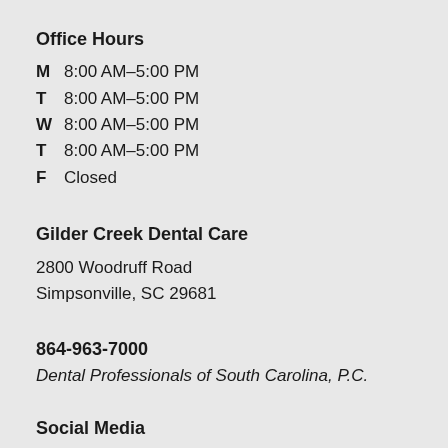Office Hours
M  8:00 AM–5:00 PM
T  8:00 AM–5:00 PM
W  8:00 AM–5:00 PM
T  8:00 AM–5:00 PM
F  Closed
Gilder Creek Dental Care
2800 Woodruff Road
Simpsonville, SC 29681
864-963-7000
Dental Professionals of South Carolina, P.C.
Social Media